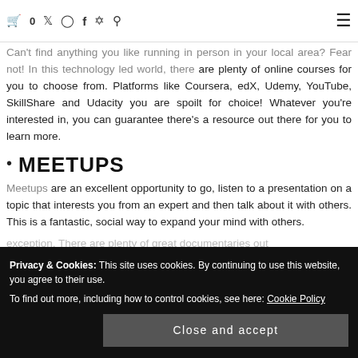🛒 0  🐦 📷 f 📌 🔍  ☰
Can't find anything you like running in person in your local area? Fear not! In this technology led world, there are plenty of online courses for you to choose from. Platforms like Coursera, edX, Udemy, YouTube, SkillShare and Udacity you are spoilt for choice! Whatever you're interested in, you can guarantee there's a resource out there for you to learn more.
MEETUPS
Meetups are an excellent opportunity to go, listen to a presentation on a topic that interests you from an expert and then talk about it with others. This is a fantastic, social way to expand your mind with others.
exception. There are plenty of great documentaries out
Privacy & Cookies: This site uses cookies. By continuing to use this website, you agree to their use.
To find out more, including how to control cookies, see here: Cookie Policy
Close and accept